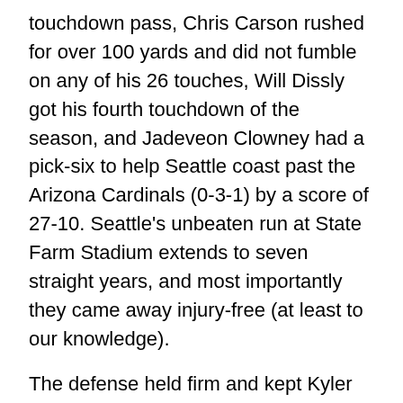touchdown pass, Chris Carson rushed for over 100 yards and did not fumble on any of his 26 touches, Will Dissly got his fourth touchdown of the season, and Jadeveon Clowney had a pick-six to help Seattle coast past the Arizona Cardinals (0-3-1) by a score of 27-10. Seattle's unbeaten run at State Farm Stadium extends to seven straight years, and most importantly they came away injury-free (at least to our knowledge).
The defense held firm and kept Kyler Murray and Arizona out of the end zone until the 4th quarter, while the offense did its job well enough to take care of a very bad team.
1st Half
The Cardinals got the ball first and moved the ball effectively down the field. An outstanding pass break